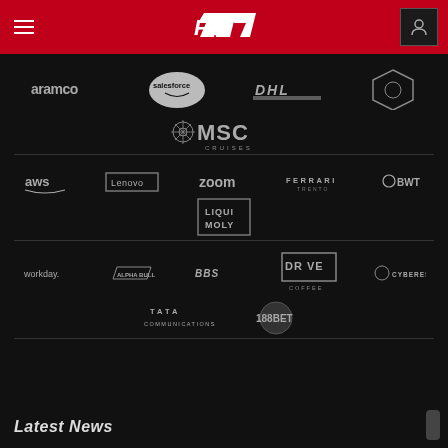F1 website header with navigation and logo
[Figure (logo): F1 logo in white on red header bar]
[Figure (logo): Aramco sponsor logo]
[Figure (logo): Salesforce sponsor logo]
[Figure (logo): DHL sponsor logo]
[Figure (logo): Crypto.com sponsor logo]
[Figure (logo): MSC Cruises sponsor logo]
[Figure (logo): AWS sponsor logo]
[Figure (logo): Lenovo sponsor logo]
[Figure (logo): Zoom sponsor logo]
[Figure (logo): Ferrari sponsor logo]
[Figure (logo): BWT sponsor logo]
[Figure (logo): Liqui Moly sponsor logo]
[Figure (logo): Workday sponsor logo]
[Figure (logo): AlphaBull sponsor logo]
[Figure (logo): BBS sponsor logo]
[Figure (logo): Drive Coffee sponsor logo]
[Figure (logo): Cyberes sponsor logo]
[Figure (logo): Tata Communications sponsor logo]
[Figure (logo): 188BET sponsor logo]
Latest News